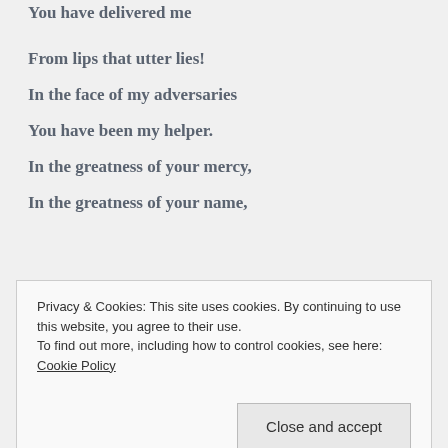You have delivered me
From lips that utter lies!
In the face of my adversaries
You have been my helper.
In the greatness of your mercy,
In the greatness of your name,
Privacy & Cookies: This site uses cookies. By continuing to use this website, you agree to their use. To find out more, including how to control cookies, see here: Cookie Policy
Close and accept